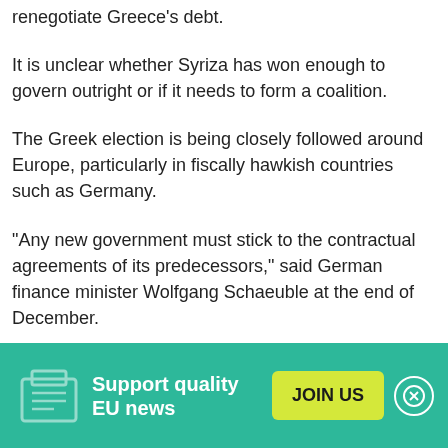renegotiate Greece's debt.
It is unclear whether Syriza has won enough to govern outright or if it needs to form a coalition.
The Greek election is being closely followed around Europe, particularly in fiscally hawkish countries such as Germany.
"Any new government must stick to the contractual agreements of its predecessors," said German finance minister Wolfgang Schaeuble at the end of December.
An updated version of this message was delivered by Bundesbank chief Jens Weidmann on Sunday evening.
[Figure (infographic): Green banner at the bottom with text 'Support quality EU news', a yellow 'JOIN US' button, and a close (X) button.]